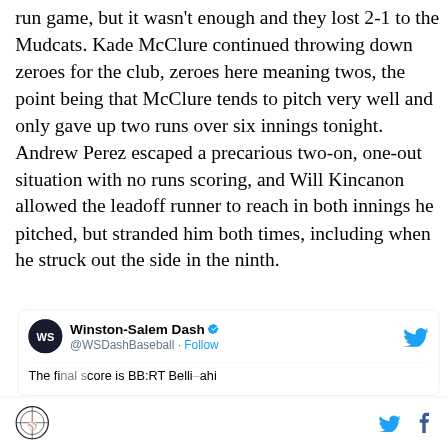run game, but it wasn't enough and they lost 2-1 to the Mudcats. Kade McClure continued throwing down zeroes for the club, zeroes here meaning twos, the point being that McClure tends to pitch very well and only gave up two runs over six innings tonight. Andrew Perez escaped a precarious two-on, one-out situation with no runs scoring, and Will Kincanon allowed the leadoff runner to reach in both innings he pitched, but stranded him both times, including when he struck out the side in the ninth.
[Figure (screenshot): Embedded tweet from Winston-Salem Dash (@WSDashBaseball) with a Follow button and Twitter bird icon. Partial tweet text visible at bottom.]
Site logo | Twitter icon | Facebook icon